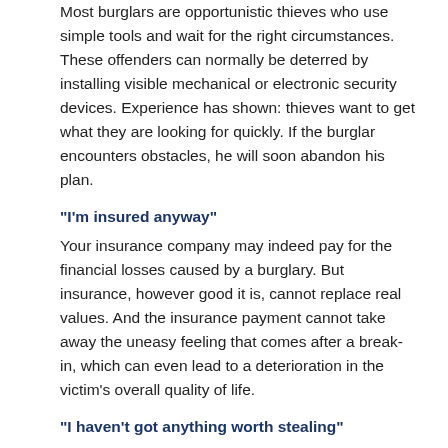Most burglars are opportunistic thieves who use simple tools and wait for the right circumstances. These offenders can normally be deterred by installing visible mechanical or electronic security devices. Experience has shown: thieves want to get what they are looking for quickly. If the burglar encounters obstacles, he will soon abandon his plan.
“I’m insured anyway”
Your insurance company may indeed pay for the financial losses caused by a burglary. But insurance, however good it is, cannot replace real values. And the insurance payment cannot take away the uneasy feeling that comes after a break-in, which can even lead to a deterioration in the victim’s overall quality of life.
“I haven’t got anything worth stealing”
That’s what you think. But the burglar doesn’t know that. He can rarely estimate in advance “whether it’s worth it or not”. Additionally, many burglars are not after a large return. When it comes to drug-related crime, for instance, digital cameras or anything with a...